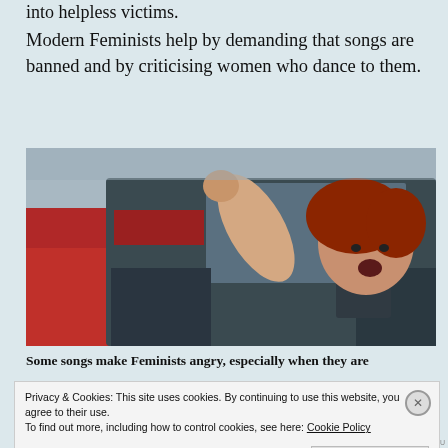into helpless victims.
Modern Feminists help by demanding that songs are banned and by criticising women who dance to them.
[Figure (photo): A red-haired woman leaning out of a car window with her fist raised, mouth open as if shouting or angry. A red car is visible in the background.]
Some songs make Feminists angry, especially when they are
Privacy & Cookies: This site uses cookies. By continuing to use this website, you agree to their use.
To find out more, including how to control cookies, see here: Cookie Policy